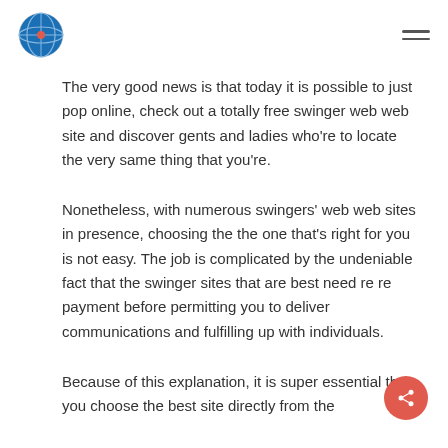[logo] [hamburger menu]
The very good news is that today it is possible to just pop online, check out a totally free swinger web web site and discover gents and ladies who're to locate the very same thing that you're.
Nonetheless, with numerous swingers' web web sites in presence, choosing the the one that's right for you is not easy. The job is complicated by the undeniable fact that the swinger sites that are best need re re payment before permitting you to deliver communications and fulfilling up with individuals.
Because of this explanation, it is super essential that you choose the best site directly from the